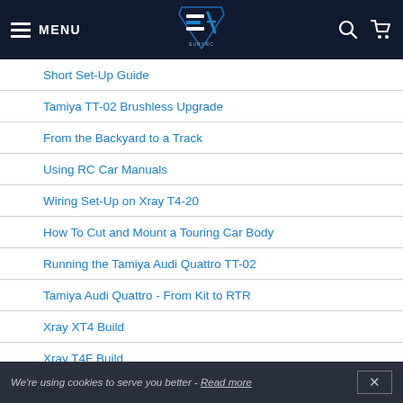MENU [EuroRC Logo] [Search] [Cart]
Short Set-Up Guide
Tamiya TT-02 Brushless Upgrade
From the Backyard to a Track
Using RC Car Manuals
Wiring Set-Up on Xray T4-20
How To Cut and Mount a Touring Car Body
Running the Tamiya Audi Quattro TT-02
Tamiya Audi Quattro - From Kit to RTR
Xray XT4 Build
Xray T4F Build
Electric motor maintenance - Video
Hudy Air Vac Vacuum Pump - Video Review
FTX Outback 2 Build Topic - Giveaway build Part 2
We're using cookies to serve you better - Read more  ✕